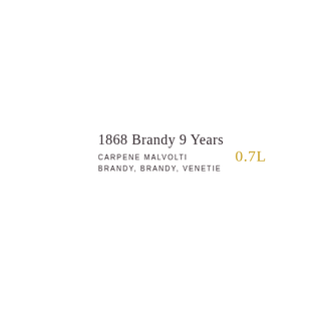1868 Brandy 9 Years
CARPENE MALVOLTI
BRANDY, BRANDY, VENETIE
0.7L